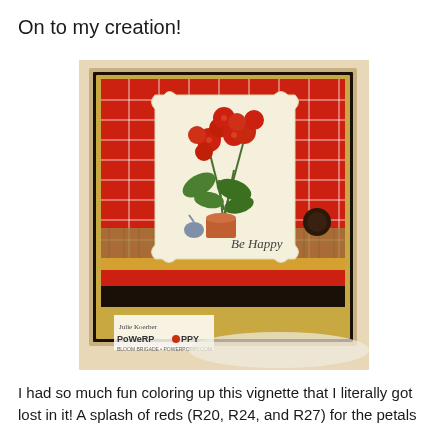On to my creation!
[Figure (photo): A handmade greeting card featuring red geraniums in a terracotta pot with a 'Be Happy' sentiment, set against a red plaid patterned background with burlap accents, mounted on a gold and black card base. Watermark reads 'Julie Koerber PowerPoppy'.]
I had so much fun coloring up this vignette that I literally got lost in it! A splash of reds (R20, R24, and R27) for the petals